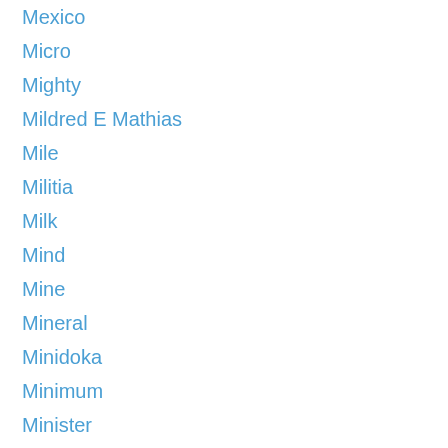Mexico
Micro
Mighty
Mildred E Mathias
Mile
Militia
Milk
Mind
Mine
Mineral
Minidoka
Minimum
Minister
Missing
Mist
Mistake
Mix
Mock
Model
Moderation
Modern